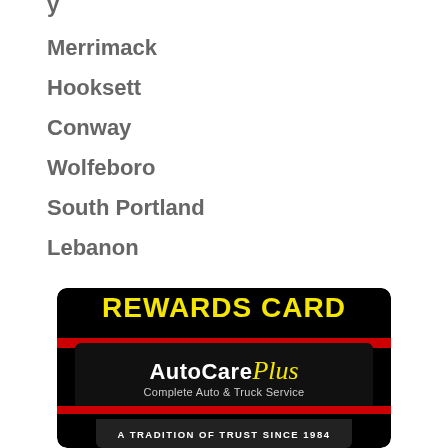Merrimack
Hooksett
Conway
Wolfeboro
South Portland
Lebanon
[Figure (logo): AutoCare Plus Rewards Card logo. Black card with yellow 'REWARDS CARD' text at top, AutoCare Plus branding in center with 'Complete Auto & Truck Service' subtitle, red stripes, and 'A TRADITION OF TRUST SINCE 1984' banner at bottom.]